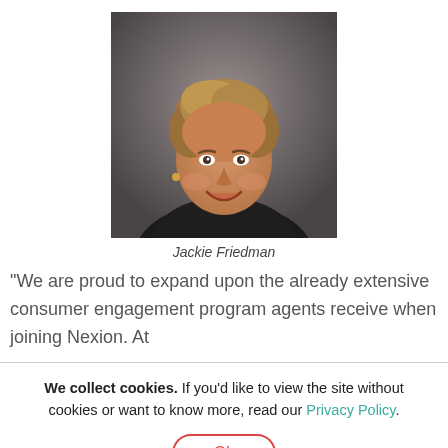[Figure (photo): Professional headshot of Jackie Friedman, a smiling woman with short blonde/brown hair wearing a dark blazer, against a gray background.]
Jackie Friedman
“We are proud to expand upon the already extensive consumer engagement program agents receive when joining Nexion. At
We collect cookies. If you'd like to view the site without cookies or want to know more, read our Privacy Policy.
Ok